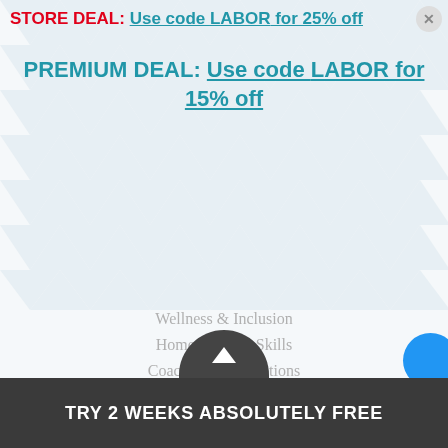STORE DEAL: Use code LABOR for 25% off
PREMIUM DEAL: Use code LABOR for 15% off
Wellness & Inclusion
Home Drills & Skills
Coaching Certifications
CONTACT
volleyball@theartofcoaching.com
330 Encinitas Blvd
Suite 102
Encinitas CA 92024
TRY 2 WEEKS ABSOLUTELY FREE